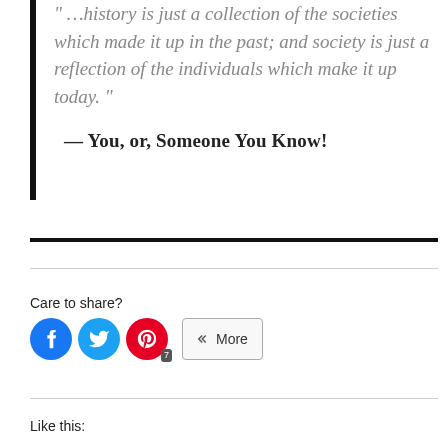“…history is just a collection of the societies which made it up in the past; and society is just a reflection of the individuals which make it up today.”
— You, or, Someone You Know!
Care to share?
[Figure (other): Social sharing buttons: Facebook (blue circle), Twitter (cyan circle), Pinterest (red circle with badge 7), and a More button]
Like this: